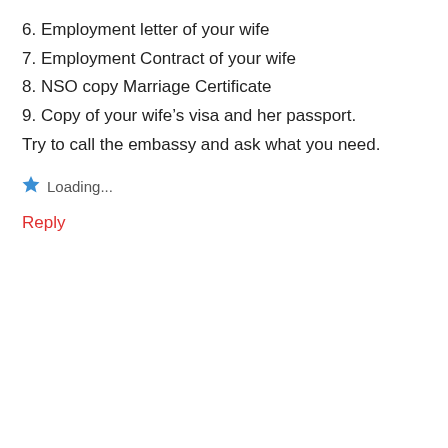6. Employment letter of your wife
7. Employment Contract of your wife
8. NSO copy Marriage Certificate
9. Copy of your wife’s visa and her passport.
Try to call the embassy and ask what you need.
Loading...
Reply